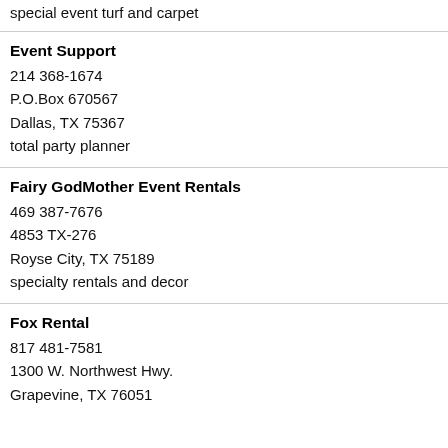special event turf and carpet
Event Support
214 368-1674
P.O.Box 670567
Dallas, TX 75367
total party planner
Fairy GodMother Event Rentals
469 387-7676
4853 TX-276
Royse City, TX 75189
specialty rentals and decor
Fox Rental
817 481-7581
1300 W. Northwest Hwy.
Grapevine, TX 76051